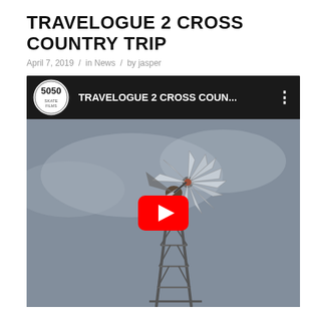TRAVELOGUE 2 CROSS COUNTRY TRIP
April 7, 2019 / in News / by jasper
[Figure (screenshot): YouTube video embed thumbnail showing a windmill against a gray sky, with YouTube header bar showing '5050' channel logo and title 'TRAVELOGUE 2 CROSS COUN...' and a red YouTube play button in the center.]